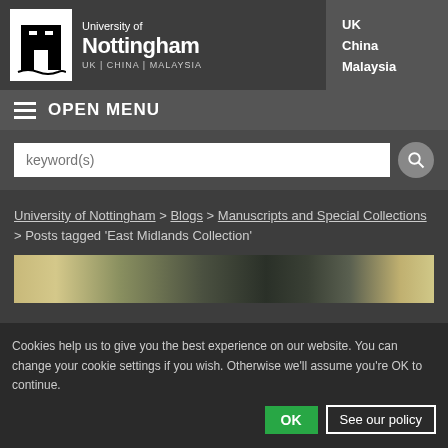University of Nottingham | UK | CHINA | MALAYSIA
≡ OPEN MENU
keyword(s)
University of Nottingham > Blogs > Manuscripts and Special Collections > Posts tagged 'East Midlands Collection'
[Figure (photo): Narrow horizontal banner showing an aged manuscript or map with yellowed and dark-toned textures]
Cookies help us to give you the best experience on our website. You can change your cookie settings if you wish. Otherwise we'll assume you're OK to continue.